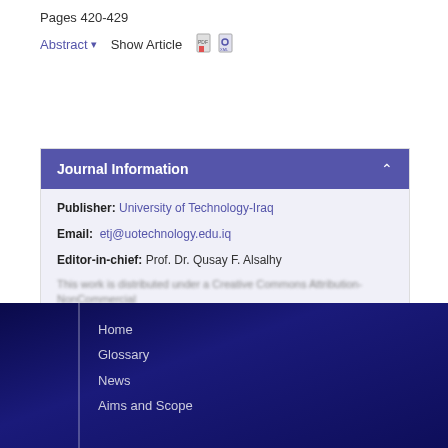Pages 420-429
Abstract  Show Article
Journal Information
Publisher:  University of Technology-Iraq
Email:  etj@uotechnology.edu.iq
Editor-in-chief:  Prof. Dr. Qusay F. Alsalhy
Home
Glossary
News
Aims and Scope